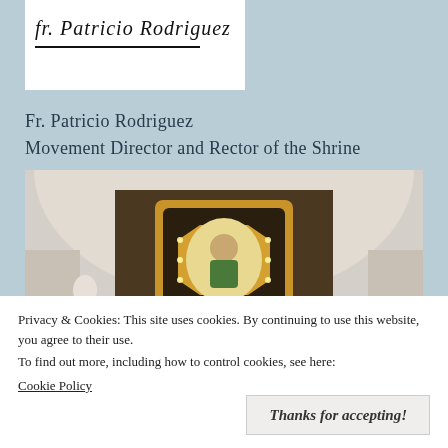[Figure (illustration): Handwritten signature on white background with underline]
Fr. Patricio Rodriguez
Movement Director and Rector of the Shrine
[Figure (photo): Group of people posing in front of an ornate altar with a gilded icon of Madonna and Child in a church with arched ceiling]
Privacy & Cookies: This site uses cookies. By continuing to use this website, you agree to their use.
To find out more, including how to control cookies, see here:
Cookie Policy
Thanks for accepting!